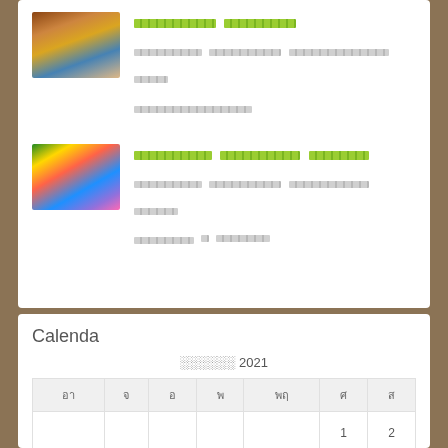[Figure (photo): Thumbnail image 1 - appears to show a religious or cultural scene with warm tones]
░░░░░░░░░░░░ ░░░░░░░░░░░░
░░░░░░░░░░░░ ░░░░░░░░░░░░ ░░░░░░░░░░░░░░░░░░░░░░░░░░ ░░░░░░
░░░░░░░░░░░░░░░░░░░░░░
[Figure (photo): Thumbnail image 2 - colorful religious/cultural image with bright colors]
░░░░░░░░░░░░░ ░░░░░░░░░░░░░ ░░░░░░░░░░
░░░░░░░░░░░░ ░░░░░░░░░░░░░ ░░░░░░░░░░░░░░ ░░░░░░░░
░░░░░░░░░░ ░.░░░░░░░░░
Calenda
| อา | จ | อ | พ | พฤ | ศ | ส |
| --- | --- | --- | --- | --- | --- | --- |
|  |  |  |  |  | 1 | 2 |